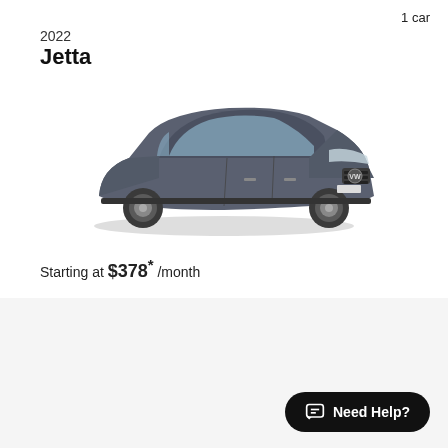1 car
2022
Jetta
[Figure (photo): Dark gray 2022 Volkswagen Jetta sedan, three-quarter front view on white background]
Starting at $378* /month
4 cars
2022
Tiguan
Need Help?